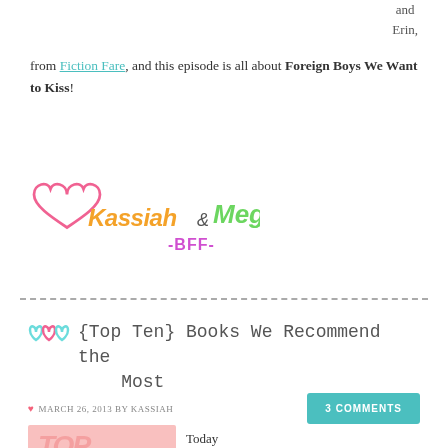and Erin,
from Fiction Fare, and this episode is all about Foreign Boys We Want to Kiss!
[Figure (logo): Kassiah & Meg BFF logo with pink heart outline and colorful handwritten text]
---dashed divider line---
{Top Ten} Books We Recommend the Most
MARCH 26, 2013 BY KASSIAH
3 COMMENTS
[Figure (illustration): Pink banner with TOP text]
Today